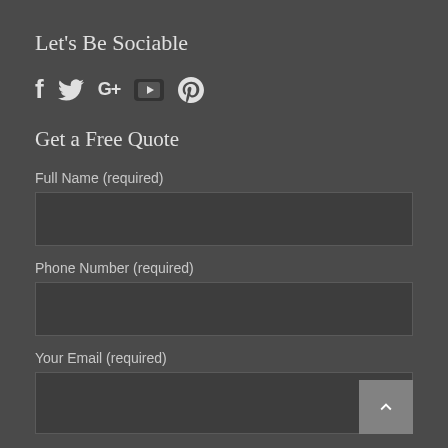Let's Be Sociable
[Figure (infographic): Social media icons: Facebook (f), Twitter (bird), Google+, YouTube (play button in rectangle), Pinterest (P circle)]
Get a Free Quote
Full Name (required)
Phone Number (required)
Your Email (required)
Input this code: